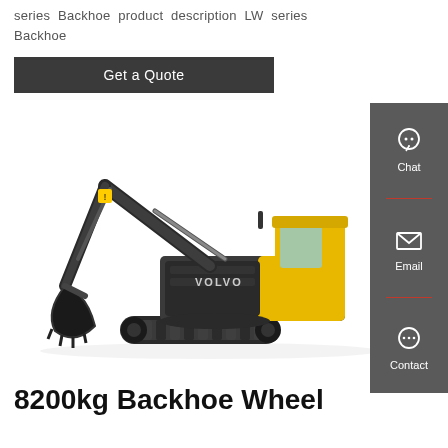series Backhoe product description LW series Backhoe
Get a Quote
[Figure (photo): Volvo tracked excavator/backhoe, dark grey and yellow color scheme, shown in profile on white background]
8200kg Backhoe Wheel